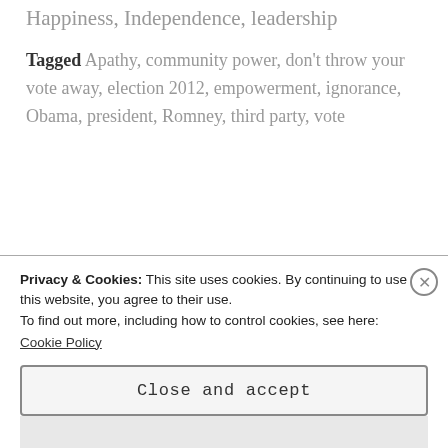Happiness, Independence, leadership
Tagged Apathy, community power, don't throw your vote away, election 2012, empowerment, ignorance, Obama, president, Romney, third party, vote
The secret to truly changing yourself
Privacy & Cookies: This site uses cookies. By continuing to use this website, you agree to their use.
To find out more, including how to control cookies, see here:
Cookie Policy
Close and accept